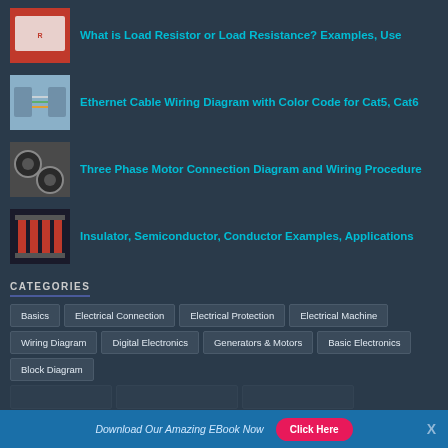What is Load Resistor or Load Resistance? Examples, Use
Ethernet Cable Wiring Diagram with Color Code for Cat5, Cat6
Three Phase Motor Connection Diagram and Wiring Procedure
Insulator, Semiconductor, Conductor Examples, Applications
CATEGORIES
Basics
Electrical Connection
Electrical Protection
Electrical Machine
Wiring Diagram
Digital Electronics
Generators & Motors
Basic Electronics
Block Diagram
Download Our Amazing EBook Now   Click Here